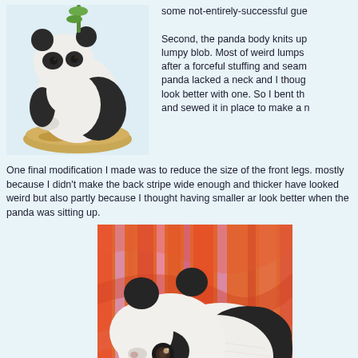[Figure (photo): Ceramic/resin panda figurine sitting on a sandy/golden base with some green bamboo, black and white coloring, realistic style]
some not-entirely-successful gue

Second, the panda body knits up lumpy blob. Most of weird lumps after a forceful stuffing and seam panda lacked a neck and I thoug look better with one. So I bent th and sewed it in place to make a n
One final modification I made was to reduce the size of the front legs. mostly because I didn't make the back stripe wide enough and thicker have looked weird but also partly because I thought having smaller ar look better when the panda was sitting up.
[Figure (photo): Knitted/crocheted panda stuffed animal lying on a colorful striped fabric background (orange, red, pink stripes). The panda is white with black markings, has a large eye patch, black ears, and a back stripe. Very realistic proportions for a knit toy.]